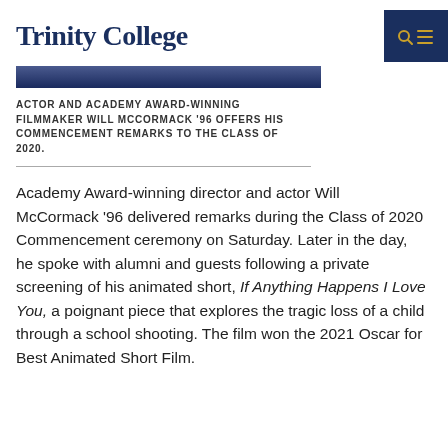Trinity College
[Figure (photo): Partial view of a photo strip showing a dark blue-toned image, likely of a person or event related to Trinity College commencement.]
ACTOR AND ACADEMY AWARD-WINNING FILMMAKER WILL MCCORMACK '96 OFFERS HIS COMMENCEMENT REMARKS TO THE CLASS OF 2020.
Academy Award-winning director and actor Will McCormack '96 delivered remarks during the Class of 2020 Commencement ceremony on Saturday. Later in the day, he spoke with alumni and guests following a private screening of his animated short, If Anything Happens I Love You, a poignant piece that explores the tragic loss of a child through a school shooting. The film won the 2021 Oscar for Best Animated Short Film.